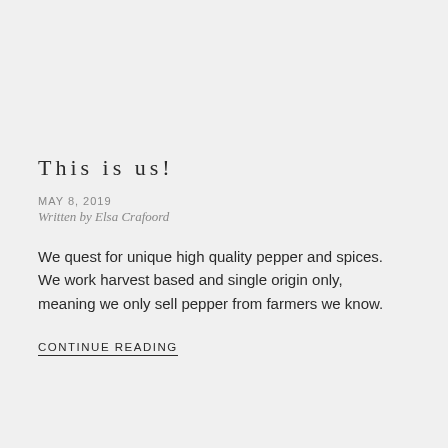This is us!
MAY 8, 2019
Written by Elsa Crafoord
We quest for unique high quality pepper and spices. We work harvest based and single origin only, meaning we only sell pepper from farmers we know.
CONTINUE READING